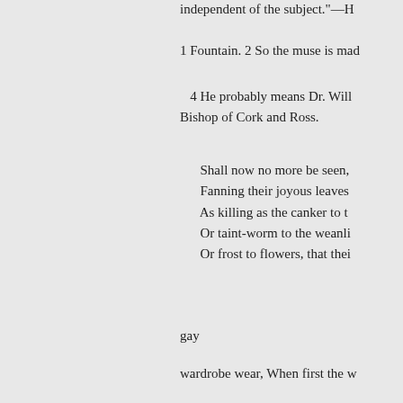independent of the subject."—H
1 Fountain. 2 So the muse is mad
4 He probably means Dr. Will Bishop of Cork and Ross.
Shall now no more be seen,
Fanning their joyous leaves
As killing as the canker to th
Or taint-worm to the weanli
Or frost to flowers, that thei
gay
wardrobe wear, When first the w
Where were ye, nymphs, when th neither were ye playing on the st of Mona' high, Nor yet where De
ye
been there, for what co
What could the muse hersel
The muss herself for her en
Whom universal nature did
When by the rout that made